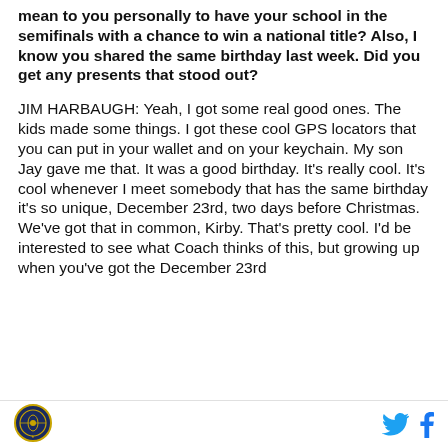mean to you personally to have your school in the semifinals with a chance to win a national title? Also, I know you shared the same birthday last week. Did you get any presents that stood out?
JIM HARBAUGH: Yeah, I got some real good ones. The kids made some things. I got these cool GPS locators that you can put in your wallet and on your keychain. My son Jay gave me that. It was a good birthday. It's really cool. It's cool whenever I meet somebody that has the same birthday it's so unique, December 23rd, two days before Christmas. We've got that in common, Kirby. That's pretty cool. I'd be interested to see what Coach thinks of this, but growing up when you've got the December 23rd
[Figure (logo): Circular logo with gold/blue emblem]